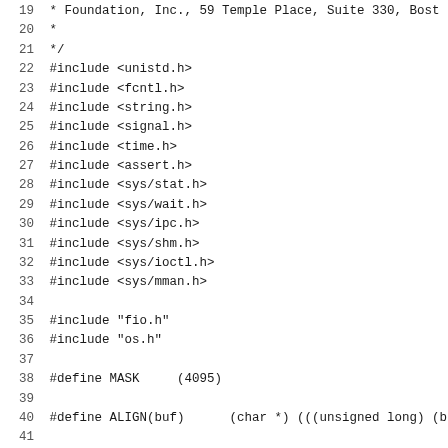Source code listing showing C include directives and variable declarations, lines 19-51